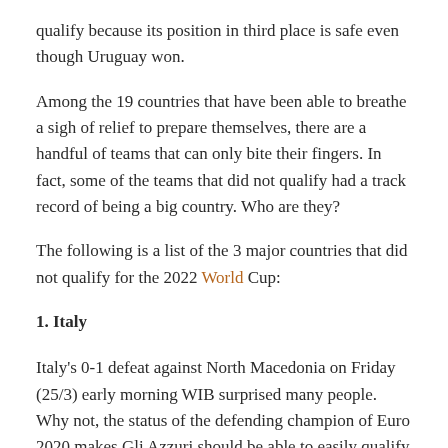qualify because its position in third place is safe even though Uruguay won.
Among the 19 countries that have been able to breathe a sigh of relief to prepare themselves, there are a handful of teams that can only bite their fingers. In fact, some of the teams that did not qualify had a track record of being a big country. Who are they?
The following is a list of the 3 major countries that did not qualify for the 2022 World Cup:
1. Italy
Italy's 0-1 defeat against North Macedonia on Friday (25/3) early morning WIB surprised many people. Why not, the status of the defending champion of Euro 2020 makes Gli Azzuri should be able to easily qualify for the 2022 World Cup.